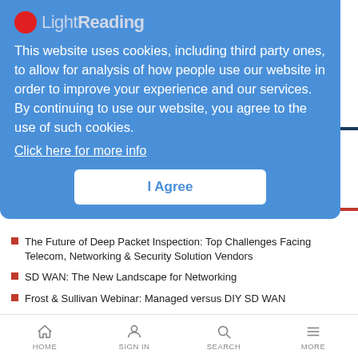[Figure (screenshot): LightReading website logo with red circle and gray/white text]
This website uses cookies, including third party ones, to allow for analysis of how people use our website in order to improve your experience and our services. By continuing to use our website, you agree to the use of such cookies.
Click here for more info
I Agree
EDUCATIONAL RESOURCES
The Future of Deep Packet Inspection: Top Challenges Facing Telecom, Networking & Security Solution Vendors
SD WAN: The New Landscape for Networking
Frost & Sullivan Webinar: Managed versus DIY SD WAN
Video: Benefits of SD-WAN
Report: See how a 60% reduction in unplanned downtime is possible
HOME  Sign In  SEARCH  MORE